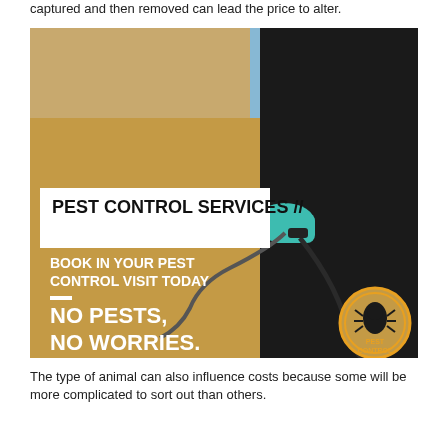captured and then removed can lead the price to alter.
[Figure (photo): Pest control services advertisement showing a person in black clothing and teal gloves using a spray hose against a wall. Text overlay reads: PEST CONTROL SERVICES // | BOOK IN YOUR PEST CONTROL VISIT TODAY — NO PESTS, NO WORRIES. | Pest Control logo in bottom right corner.]
The type of animal can also influence costs because some will be more complicated to sort out than others.